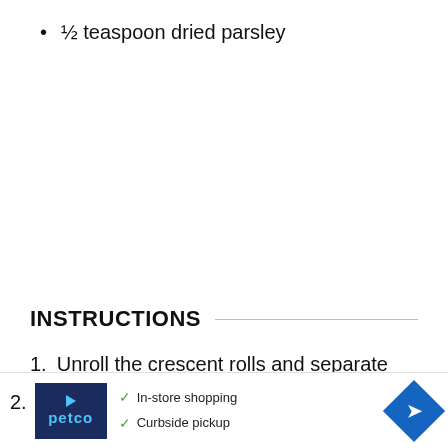½ teaspoon dried parsley
INSTRUCTIONS
1. Unroll the crescent rolls and separate each triangle.
2.